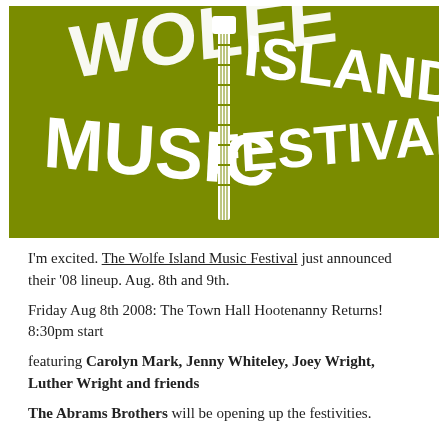[Figure (logo): Wolfe Island Music Festival logo on olive/green background, text styled in a butterfly/guitar shape in white lettering reading WOLFE ISLAND MUSIC FESTIVAL with a guitar neck in the center]
I'm excited. The Wolfe Island Music Festival just announced their '08 lineup. Aug. 8th and 9th.
Friday Aug 8th 2008: The Town Hall Hootenanny Returns! 8:30pm start
featuring Carolyn Mark, Jenny Whiteley, Joey Wright, Luther Wright and friends
The Abrams Brothers will be opening up the festivities.